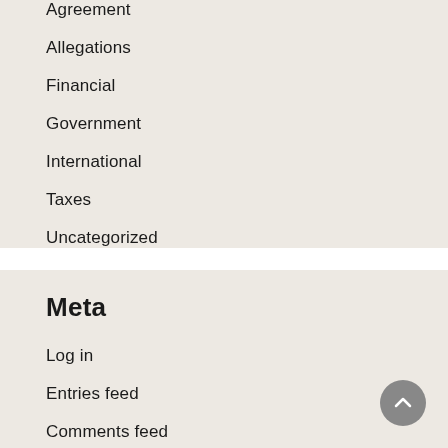Agreement
Allegations
Financial
Government
International
Taxes
Uncategorized
Meta
Log in
Entries feed
Comments feed